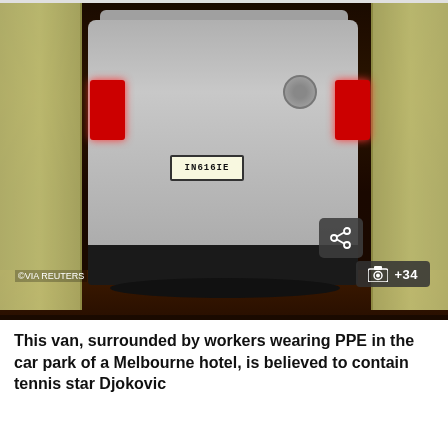[Figure (photo): A silver/grey van photographed from behind in a dimly lit car park, surrounded on both sides by workers wearing yellow PPE (personal protective equipment) gowns. The van's rear red brake lights are illuminated. A license plate is visible on the rear. A share icon button is visible in the upper right of the image, and a photo count badge showing a camera icon and '+34' appears in the lower right. A Reuters watermark '©VIA REUTERS' is visible in the lower left corner.]
This van, surrounded by workers wearing PPE in the car park of a Melbourne hotel, is believed to contain tennis star Djokovic